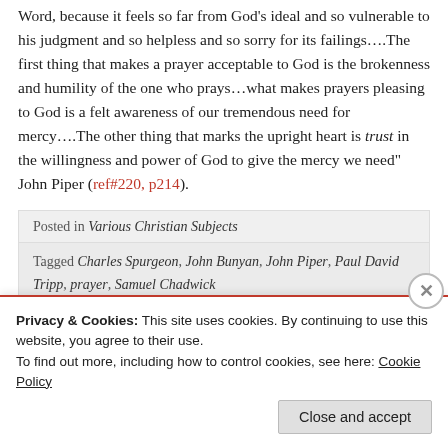Word, because it feels so far from God's ideal and so vulnerable to his judgment and so helpless and so sorry for its failings….The first thing that makes a prayer acceptable to God is the brokenness and humility of the one who prays…what makes prayers pleasing to God is a felt awareness of our tremendous need for mercy….The other thing that marks the upright heart is trust in the willingness and power of God to give the mercy we need" John Piper (ref#220, p214).
Posted in Various Christian Subjects
Tagged Charles Spurgeon, John Bunyan, John Piper, Paul David Tripp, prayer, Samuel Chadwick
Privacy & Cookies: This site uses cookies. By continuing to use this website, you agree to their use. To find out more, including how to control cookies, see here: Cookie Policy